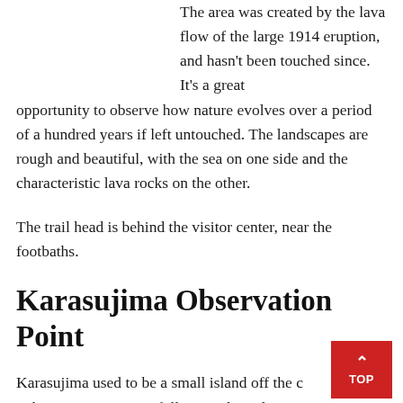The area was created by the lava flow of the large 1914 eruption, and hasn't been touched since. It's a great opportunity to observe how nature evolves over a period of a hundred years if left untouched. The landscapes are rough and beautiful, with the sea on one side and the characteristic lava rocks on the other.
The trail head is behind the visitor center, near the footbaths.
Karasujima Observation Point
Karasujima used to be a small island off the coast of Sakurajima. However following the volcano's eruption in 1914, the island was connected with Sakurajima by...